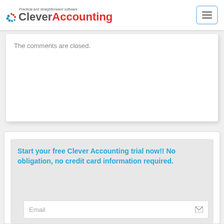Clever Accounting — Practical and straightforward software
The comments are closed.
Start your free Clever Accounting trial now!! No obligation, no credit card information required.